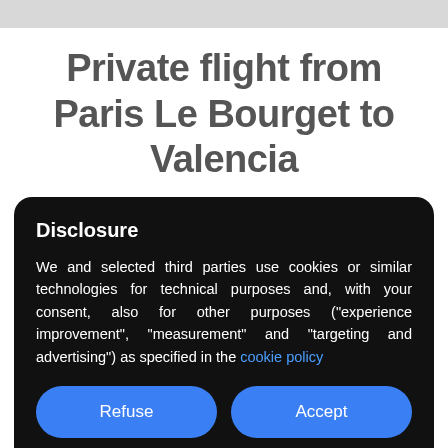Private flight from Paris Le Bourget to Valencia
Disclosure
We and selected third parties use cookies or similar technologies for technical purposes and, with your consent, also for other purposes ("experience improvement", "measurement" and "targeting and advertising") as specified in the cookie policy
Refuse
Accept
Learn more and customize
a short runway and does not allow the